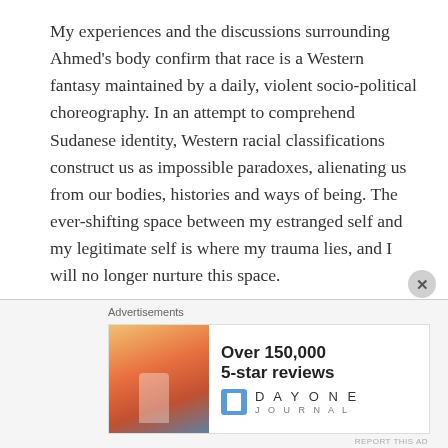My experiences and the discussions surrounding Ahmed's body confirm that race is a Western fantasy maintained by a daily, violent socio-political choreography. In an attempt to comprehend Sudanese identity, Western racial classifications construct us as impossible paradoxes, alienating us from our bodies, histories and ways of being. The ever-shifting space between my estranged self and my legitimate self is where my trauma lies, and I will no longer nurture this space.
I refuse to rehearse the logics of race-making or dance to the imperialist drum of racialisation. I will not become digestible to Westerners and non-Black Arabs alike. I will
[Figure (other): Advertisement banner: 'Over 150,000 5-star reviews' for Day One Journal app, with a photo of a person on a hilltop at sunset]